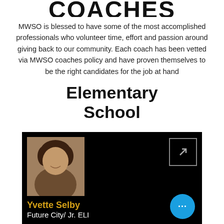COACHES
MWSO is blessed to have some of the most accomplished professionals who volunteer time, effort and passion around giving back to our community. Each coach has been vetted via MWSO coaches policy and have proven themselves to be the right candidates for the job at hand
Elementary School
[Figure (photo): Profile card with photo of Yvette Selby on black background, with name in gold text and title Future City/ Jr. ELI below in white text. A blue circular button with three dots appears in the bottom right corner.]